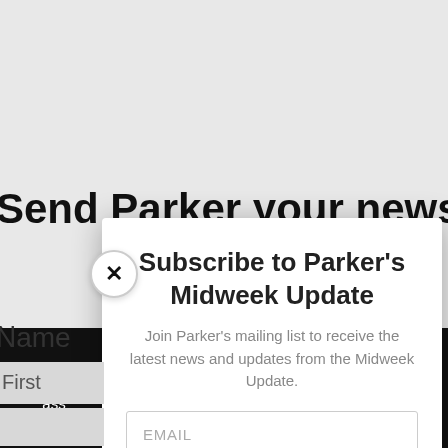Send Parker your news!
Name
First
Last
This   We'll
ass   ish.
Subscribe to Parker's Midweek Update
Join Parker's mailing list to receive the latest news and updates from the Midweek Update.
EMAIL
SUBSCRIBE!